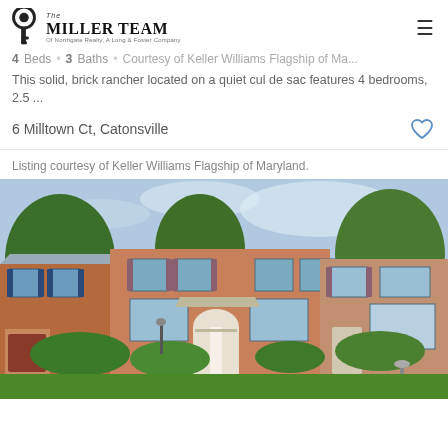The Miller Team of Northgate Realty, A Long & Foster Company
4 Beds · 3 Baths · Courtesy of Keller Williams Flagship of Ma...
This solid, brick rancher located on a quiet cul de sac features 4 bedrooms, 2.5 ...
6 Milltown Ct, Catonsville
Listing courtesy of Keller Williams Flagship of Maryland.
[Figure (photo): Exterior photo of a brick townhouse/rancher at 6 Milltown Ct, Catonsville. Features a white arched front door, blue shutters on adjacent units, green lawn, trees, and a walkway leading to the entrance.]